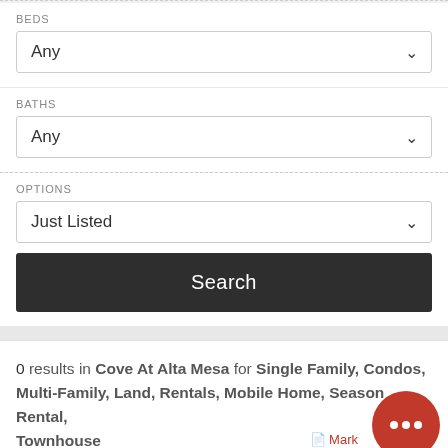BEDS
Any
BATHS
Any
OPTIONS
Just Listed
Search
0 results in Cove At Alta Mesa for Single Family, Condos, Multi-Family, Land, Rentals, Mobile Home, Season Rental, Townhouse
SORT BY: